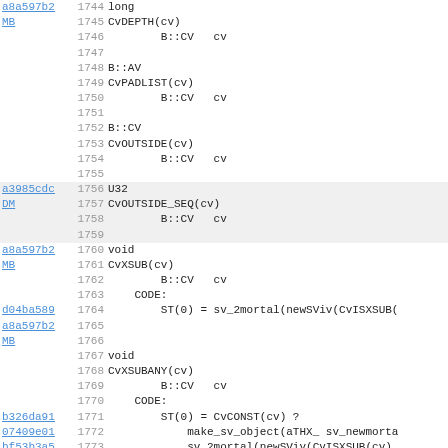Code listing showing Perl/C XS function definitions for B::CV module, lines 1744-1775